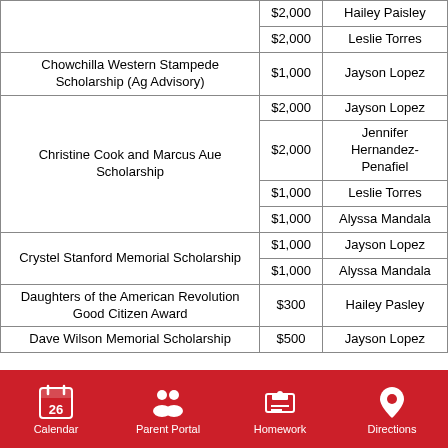| Scholarship | Amount | Recipient |
| --- | --- | --- |
|  | $2,000 | Hailey Paisley |
|  | $2,000 | Leslie Torres |
| Chowchilla Western Stampede Scholarship (Ag Advisory) | $1,000 | Jayson Lopez |
| Christine Cook and Marcus Aue Scholarship | $2,000 | Jayson Lopez |
| Christine Cook and Marcus Aue Scholarship | $2,000 | Jennifer Hernandez-Penafiel |
| Christine Cook and Marcus Aue Scholarship | $1,000 | Leslie Torres |
| Christine Cook and Marcus Aue Scholarship | $1,000 | Alyssa Mandala |
| Crystel Stanford Memorial Scholarship | $1,000 | Jayson Lopez |
| Crystel Stanford Memorial Scholarship | $1,000 | Alyssa Mandala |
| Daughters of the American Revolution Good Citizen Award | $300 | Hailey Pasley |
| Dave Wilson Memorial Scholarship | $500 | Jayson Lopez |
Calendar  Parent Portal  Homework  Directions